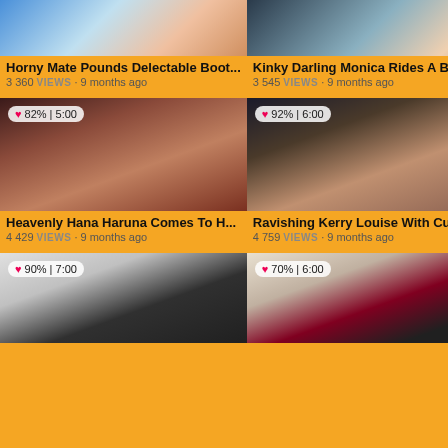[Figure (screenshot): Video thumbnail 1 - top left]
Horny Mate Pounds Delectable Boot...
3 360 views · 9 months ago
[Figure (screenshot): Video thumbnail 2 - top right]
Kinky Darling Monica Rides A Big Pe...
3 545 views · 9 months ago
[Figure (screenshot): Video thumbnail 3 - middle left, badge 82% 5:00]
Heavenly Hana Haruna Comes To H...
4 429 views · 9 months ago
[Figure (screenshot): Video thumbnail 4 - middle right, badge 92% 6:00]
Ravishing Kerry Louise With Curvy Ti...
4 759 views · 9 months ago
[Figure (screenshot): Video thumbnail 5 - bottom left, badge 90% 7:00]
[Figure (screenshot): Video thumbnail 6 - bottom right, badge 70% 6:00]